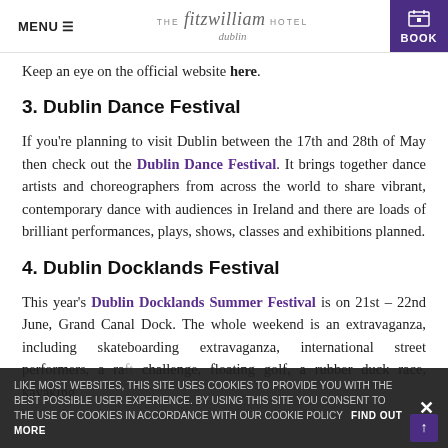MENU ☰  |  THE fitzwilliam HOTEL dublin  |  BOOK
Keep an eye on the official website here.
3. Dublin Dance Festival
If you're planning to visit Dublin between the 17th and 28th of May then check out the Dublin Dance Festival. It brings together dance artists and choreographers from across the world to share vibrant, contemporary dance with audiences in Ireland and there are loads of brilliant performances, plays, shows, classes and exhibitions planned.
4. Dublin Docklands Festival
This year's Dublin Docklands Summer Festival is on 21st – 22nd June, Grand Canal Dock. The whole weekend is an extravaganza, including skateboarding extravaganza, international street performers, a raft challenge, floating golf, a rubber duck race, kayaking
LIKE MOST WEBSITES, THIS SITE USES COOKIES TO PROVIDE YOU WITH THE BEST POSSIBLE USER EXPERIENCE. BY USING THIS SITE YOU CONSENT TO THE USE OF COOKIES IN ACCORDANCE WITH OUR COOKIE POLICY   FIND OUT MORE